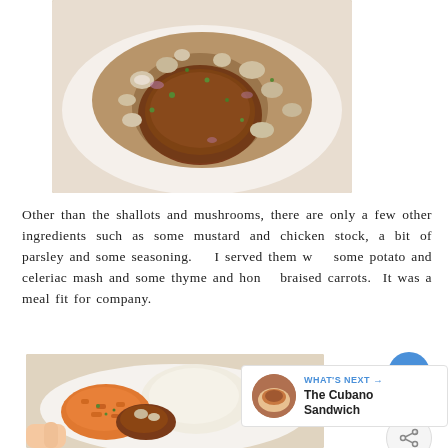[Figure (photo): Close-up photo of a seared meat patty (hamburger steak) topped with sautéed mushrooms and shallots in a brown sauce, garnished with chopped parsley, served on a white plate.]
Other than the shallots and mushrooms, there are only a few other ingredients such as some mustard and chicken stock, a bit of parsley and some seasoning.   I served them with some potato and celeriac mash and some thyme and honey braised carrots.  It was a meal fit for company.
[Figure (photo): Photo of a white plate with mashed potato/celeriac mash, braised carrots with herbs, and a portion of the meat dish.]
WHAT'S NEXT → The Cubano Sandwich